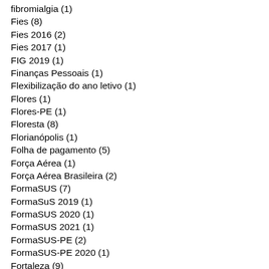fibromialgia (1)
Fies (8)
Fies 2016 (2)
Fies 2017 (1)
FIG 2019 (1)
Finanças Pessoais (1)
Flexibilização do ano letivo (1)
Flores (1)
Flores-PE (1)
Floresta (8)
Florianópolis (1)
Folha de pagamento (5)
Força Aérea (1)
Força Aérea Brasileira (2)
FormaSUS (7)
FormaSuS 2019 (1)
FormaSUS 2020 (1)
FormaSUS 2021 (1)
FormaSUS-PE (2)
FormaSUS-PE 2020 (1)
Fortaleza (9)
Funase (1)